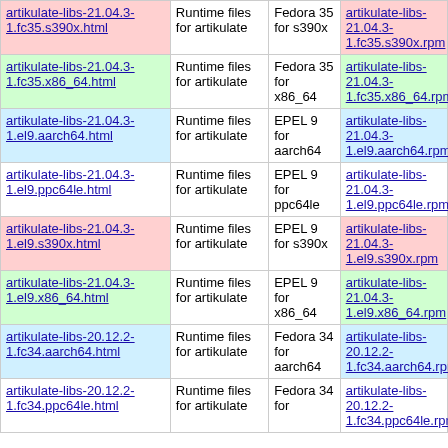| File | Description | Repo | RPM |
| --- | --- | --- | --- |
| artikulate-libs-21.04.3-1.fc35.s390x.html | Runtime files for artikulate | Fedora 35 for s390x | artikulate-libs-21.04.3-1.fc35.s390x.rpm |
| artikulate-libs-21.04.3-1.fc35.x86_64.html | Runtime files for artikulate | Fedora 35 for x86_64 | artikulate-libs-21.04.3-1.fc35.x86_64.rpm |
| artikulate-libs-21.04.3-1.el9.aarch64.html | Runtime files for artikulate | EPEL 9 for aarch64 | artikulate-libs-21.04.3-1.el9.aarch64.rpm |
| artikulate-libs-21.04.3-1.el9.ppc64le.html | Runtime files for artikulate | EPEL 9 for ppc64le | artikulate-libs-21.04.3-1.el9.ppc64le.rpm |
| artikulate-libs-21.04.3-1.el9.s390x.html | Runtime files for artikulate | EPEL 9 for s390x | artikulate-libs-21.04.3-1.el9.s390x.rpm |
| artikulate-libs-21.04.3-1.el9.x86_64.html | Runtime files for artikulate | EPEL 9 for x86_64 | artikulate-libs-21.04.3-1.el9.x86_64.rpm |
| artikulate-libs-20.12.2-1.fc34.aarch64.html | Runtime files for artikulate | Fedora 34 for aarch64 | artikulate-libs-20.12.2-1.fc34.aarch64.rpm |
| artikulate-libs-20.12.2-1.fc34.ppc64le.html | Runtime files for artikulate | Fedora 34 for | artikulate-libs-20.12.2-1.fc34.ppc64le.rpm |